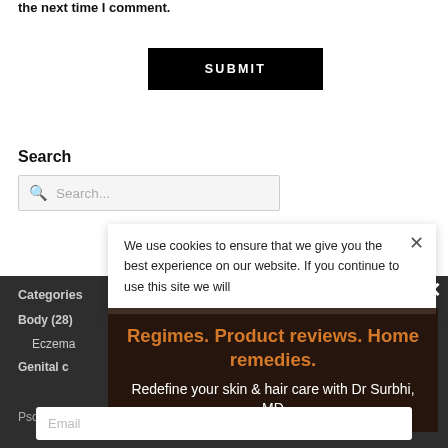the next time I comment.
SUBMIT
Search
Search...
We use cookies to ensure that we give you the best experience on our website. If you continue to use this site we will
Categories
Body (28)
Eczema
Genital c
Regimes. Product reviews. Home remedies.
Redefine your skin & hair care with Dr Surbhi, MD
Psoriasis (2)
Email